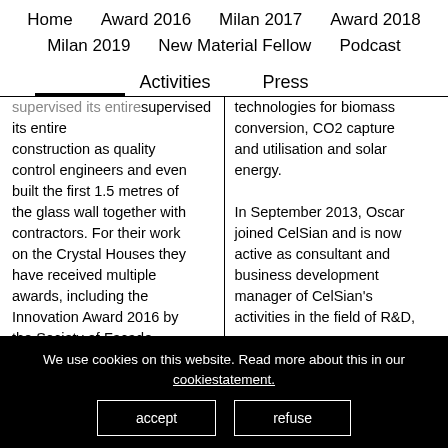Home   Award 2016   Milan 2017   Award 2018   Milan 2019   New Material Fellow   Podcast   Activities   Press
supervised its entire construction as quality control engineers and even built the first 1.5 metres of the glass wall together with contractors. For their work on the Crystal Houses they have received multiple awards, including the Innovation Award 2016 by the Society of Façade
technologies for biomass conversion, CO2 capture and utilisation and solar energy.

In September 2013, Oscar joined CelSian and is now active as consultant and business development manager of CelSian's activities in the field of R&D,
We use cookies on this website. Read more about this in our cookiestatement.